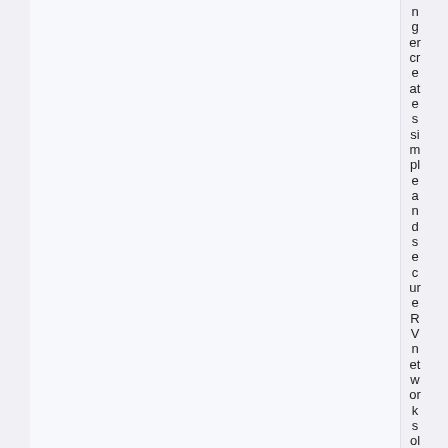nger creates simple and secure RVnetwork solutions